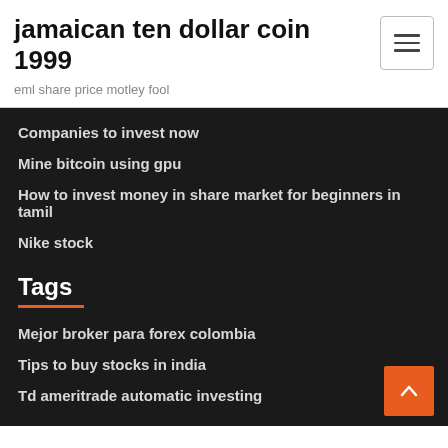jamaican ten dollar coin 1999
eml share price motley fool
Companies to invest now
Mine bitcoin using gpu
How to invest money in share market for beginners in tamil
Nike stock
Tags
Mejor broker para forex colombia
Tips to buy stocks in india
Td ameritrade automatic investing